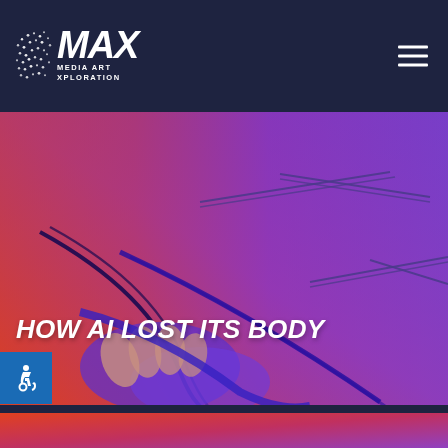[Figure (logo): MAX Media Art Xploration logo with scattered dot pattern and stylized bold italic text, white on dark navy background]
[Figure (illustration): Hero image with warm red-to-cool purple gradient background showing abstract line art resembling geometric shapes and stylized hands/body forms in blue-purple tones]
HOW AI LOST ITS BODY
[Figure (illustration): Continuation of gradient background image in red-orange to purple tones, bottom section below divider bar]